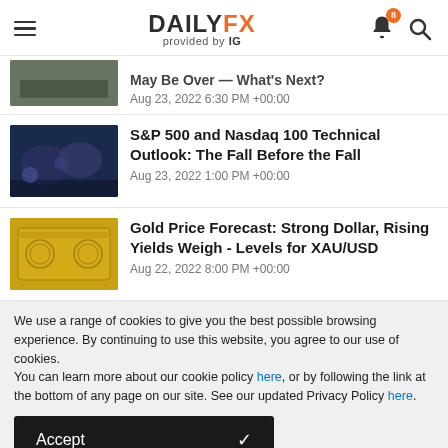DAILYFX provided by IG
May Be Over — What's Next?  Aug 23, 2022 6:30 PM +00:00
S&P 500 and Nasdaq 100 Technical Outlook: The Fall Before the Fall
Aug 23, 2022 1:00 PM +00:00
Gold Price Forecast: Strong Dollar, Rising Yields Weigh - Levels for XAU/USD
Aug 22, 2022 8:00 PM +00:00
We use a range of cookies to give you the best possible browsing experience. By continuing to use this website, you agree to our use of cookies.
You can learn more about our cookie policy here, or by following the link at the bottom of any page on our site. See our updated Privacy Policy here.
Accept